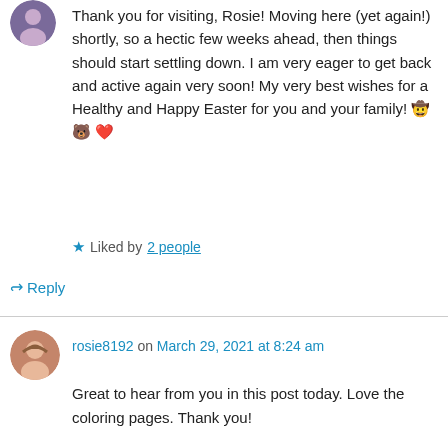[Figure (photo): Partial avatar image at top left, circular crop]
Thank you for visiting, Rosie! Moving here (yet again!) shortly, so a hectic few weeks ahead, then things should start settling down. I am very eager to get back and active again very soon! My very best wishes for a Healthy and Happy Easter for you and your family! 🤠 🐻 ❤️
★ Liked by 2 people
↳ Reply
[Figure (photo): Circular avatar photo of rosie8192, woman with curly hair]
rosie8192 on March 29, 2021 at 8:24 am
Great to hear from you in this post today. Love the coloring pages. Thank you!

Have a wonderful Easter, James.
Rosie